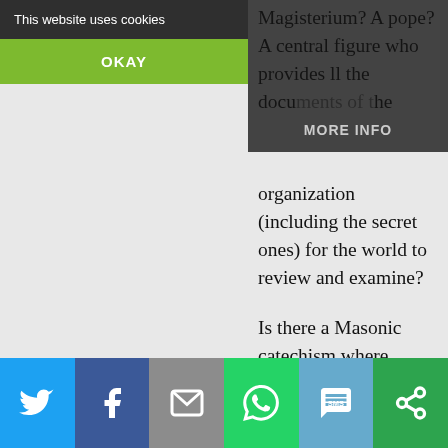This website uses cookies
OKAY
MORE INFO
Magisterium? A pope? A central figure who provides all the documents of the organization (including the secret ones) for the world to review and examine?
Is there a Masonic catechism where nothing is left out?
You're getting subjective interpretations precisely because there are no truthful objective ones. Freemasonry
[Figure (screenshot): Social sharing bar with icons for Twitter, Facebook, Email, WhatsApp, SMS, and a share/other button]